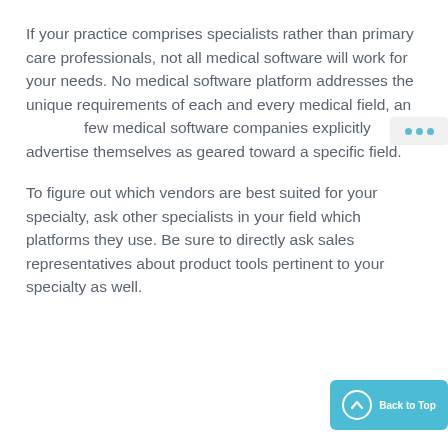If your practice comprises specialists rather than primary care professionals, not all medical software will work for your needs. No medical software platform addresses the unique requirements of each and every medical field, and few medical software companies explicitly advertise themselves as geared toward a specific field.
To figure out which vendors are best suited for your specialty, ask other specialists in your field which platforms they use. Be sure to directly ask sales representatives about product tools pertinent to your specialty as well.